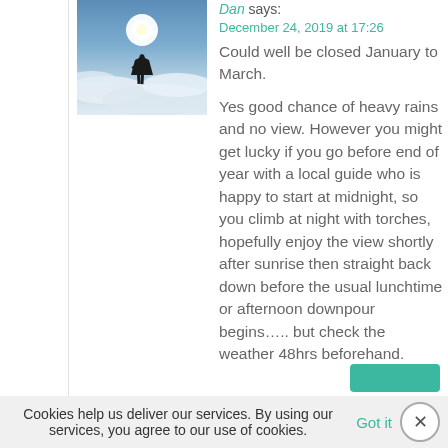[Figure (photo): Avatar photo of a person silhouetted against a bright sun above clouds on a mountain]
Dan says:
December 24, 2019 at 17:26
Could well be closed January to March.
Yes good chance of heavy rains and no view. However you might get lucky if you go before end of year with a local guide who is happy to start at midnight, so you climb at night with torches, hopefully enjoy the view shortly after sunrise then straight back down before the usual lunchtime or afternoon downpour begins….. but check the weather 48hrs beforehand.
Cookies help us deliver our services. By using our services, you agree to our use of cookies.  Got it